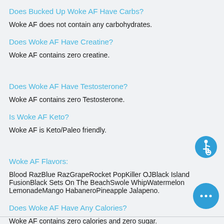Does Bucked Up Woke AF Have Carbs?
Woke AF does not contain any carbohydrates.
Does Woke AF Have Creatine?
Woke AF contains zero creatine.
Does Woke AF Have Testosterone?
Woke AF contains zero Testosterone.
Is Woke AF Keto?
Woke AF is Keto/Paleo friendly.
Woke AF Flavors:
Blood RazBlue RazGrapeRocket PopKiller OJBlack Island FusionBlack Sets On The BeachSwole WhipWatermelon LemonadeMango HabaneroPineapple Jalapeno.
Does Woke AF Have Any Calories?
Woke AF contains zero calories and zero sugar.